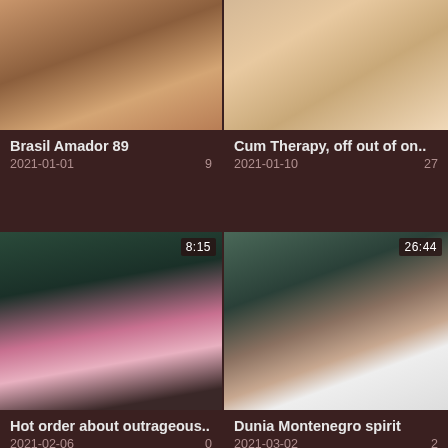[Figure (photo): Video thumbnail - close up skin tones brown]
[Figure (photo): Video thumbnail - blonde woman close up]
Brasil Amador 89
2021-01-01	9
Cum Therapy, off out of on..
2021-01-10	27
[Figure (photo): Video thumbnail - dark woman with pink toy, duration 8:15]
[Figure (photo): Video thumbnail - dark haired woman close up, duration 26:44]
Hot order about outrageous..
2021-02-06	0
Dunia Montenegro spirit
2021-03-02	2
[Figure (photo): Video thumbnail - warm blurred close up, duration 0:23]
[Figure (photo): Video thumbnail - woman in white lingerie, duration 12:03]